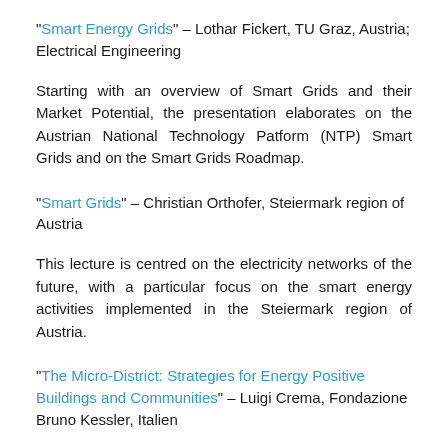"Smart Energy Grids" – Lothar Fickert, TU Graz, Austria; Electrical Engineering
Starting with an overview of Smart Grids and their Market Potential, the presentation elaborates on the Austrian National Technology Patform (NTP) Smart Grids and on the Smart Grids Roadmap.
"Smart Grids" – Christian Orthofer, Steiermark region of Austria
This lecture is centred on the electricity networks of the future, with a particular focus on the smart energy activities implemented in the Steiermark region of Austria.
"The Micro-District: Strategies for Energy Positive Buildings and Communities" – Luigi Crema, Fondazione Bruno Kessler, Italien
Micro-district strategies for achieving sustainable buildings and communities, with examples of integration projects